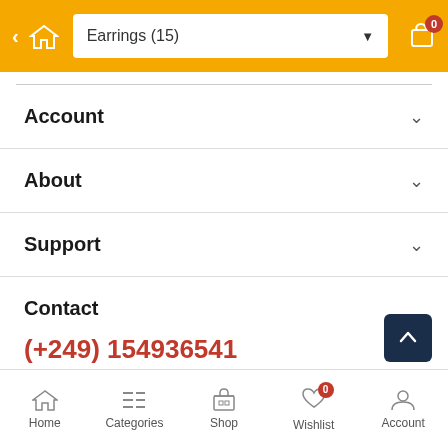Earrings (15)
Account
About
Support
Contact
(+249) 154936541
Khartoum 2, Africa St, 55th
[Figure (infographic): Social media icons: Facebook, Instagram, Twitter, LinkedIn]
Home | Categories | Shop | Wishlist | Account